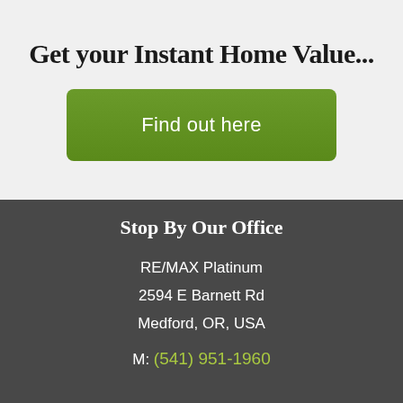Get your Instant Home Value...
[Figure (other): Green button with text 'Find out here']
Stop By Our Office
RE/MAX Platinum
2594 E Barnett Rd
Medford, OR, USA
M: (541) 951-1960